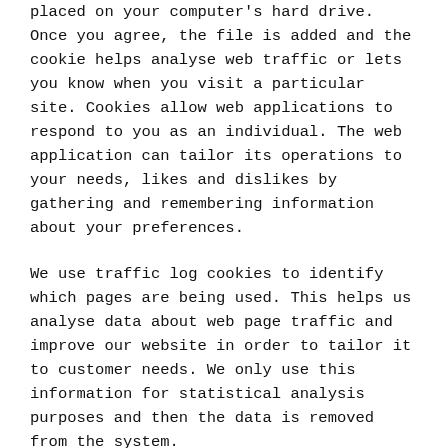A cookie is a small file which asks permission to be placed on your computer's hard drive. Once you agree, the file is added and the cookie helps analyse web traffic or lets you know when you visit a particular site. Cookies allow web applications to respond to you as an individual. The web application can tailor its operations to your needs, likes and dislikes by gathering and remembering information about your preferences.
We use traffic log cookies to identify which pages are being used. This helps us analyse data about web page traffic and improve our website in order to tailor it to customer needs. We only use this information for statistical analysis purposes and then the data is removed from the system.
Overall, cookies help us provide you with a better website, by enabling us to monitor which pages you find useful and which ones do not. A cookie in no way gives us access to your computer or any information about you, other than the data you choose to share with us.